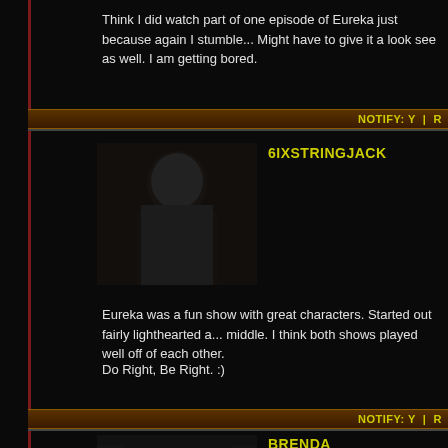Think I did watch part of one episode of Eureka just because again I stumble... Might have to give it a look see as well. I am getting bored.
NOTIFY: Y  |  R
6IXSTRINGJACK
[Figure (photo): Dark profile photo of user 6IXSTRINGJACK]
Eureka was a fun show with great characters. Started out fairly lighthearted a... middle. I think both shows played well off of each other.
Do Right, Be Right. :)
NOTIFY: Y  |  R
BRENDA
[Figure (photo): Profile photo of user BRENDA, woman with dark curly hair]